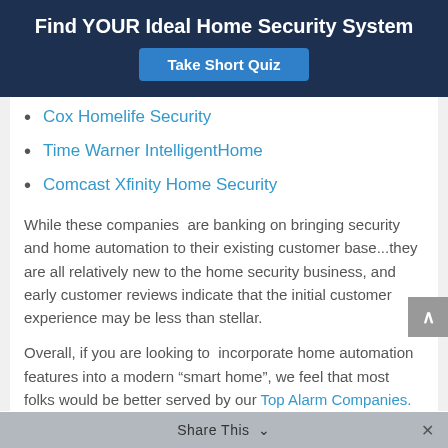Find YOUR Ideal Home Security System
Take Short Quiz
Cox Homelife Security
Time Warner IntelligentHome
Comcast Xfinity Home Security
While these companies  are banking on bringing security and home automation to their existing customer base...they are all relatively new to the home security business, and early customer reviews indicate that the initial customer experience may be less than stellar.
Overall, if you are looking to  incorporate home automation features into a modern “smart home”, we feel that most folks would be better served by our Top Alarm Companies.
Share This ∨  ×